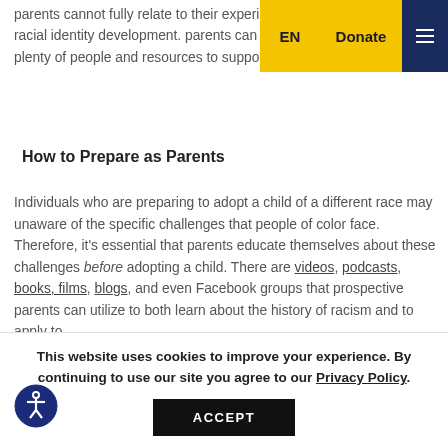parents cannot fully relate to their experiences around race and racial identity development. parents can rest assured that there are plenty of people and resources to support their family.
How to Prepare as Parents
Individuals who are preparing to adopt a child of a different race may unaware of the specific challenges that people of color face. Therefore, it's essential that parents educate themselves about these challenges before adopting a child. There are videos, podcasts, books, films, blogs, and even Facebook groups that prospective parents can utilize to both learn about the history of racism and to apply to
This website uses cookies to improve your experience. By continuing to use our site you agree to our Privacy Policy.
ACCEPT